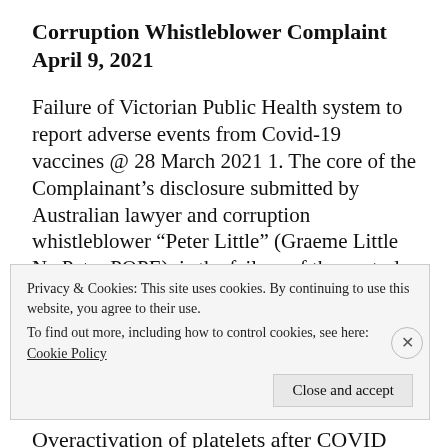Corruption Whistleblower Complaint April 9, 2021
Failure of Victorian Public Health system to report adverse events from Covid-19 vaccines @ 28 March 2021 1. The core of the Complainant's disclosure submitted by Australian lawyer and corruption whistleblower "Peter Little" (Graeme Little Ne Peter POPE), is the failure of the central linchpin of administration of experimental vaccines, namely post market su [...]
allthenewsthatmatters
Overactivation of platelets after COVID vaccine
Privacy & Cookies: This site uses cookies. By continuing to use this website, you agree to their use.
To find out more, including how to control cookies, see here: Cookie Policy